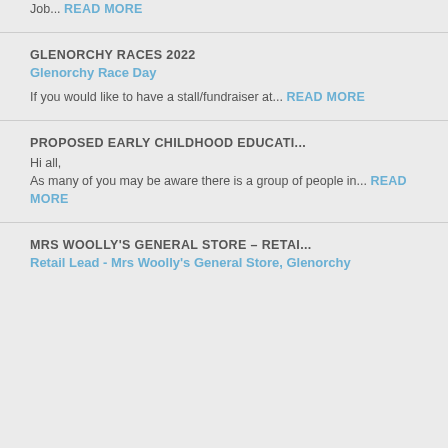Job... READ MORE
GLENORCHY RACES 2022
Glenorchy Race Day
If you would like to have a stall/fundraiser at... READ MORE
PROPOSED EARLY CHILDHOOD EDUCATI...
Hi all,
As many of you may be aware there is a group of people in... READ MORE
MRS WOOLLY'S GENERAL STORE – RETAI...
Retail Lead - Mrs Woolly's General Store, Glenorchy